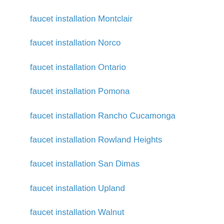faucet installation Montclair
faucet installation Norco
faucet installation Ontario
faucet installation Pomona
faucet installation Rancho Cucamonga
faucet installation Rowland Heights
faucet installation San Dimas
faucet installation Upland
faucet installation Walnut
faucet installation West Covina